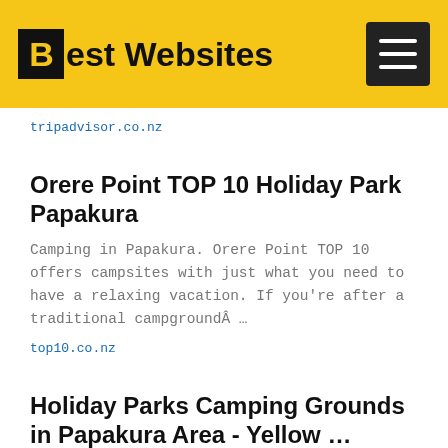Best Websites
tripadvisor.co.nz
Orere Point TOP 10 Holiday Park Papakura
Camping in Papakura. Orere Point TOP 10 offers campsites with just what you need to have a relaxing vacation. If you're after a traditional campgroundÂ …
top10.co.nz
Holiday Parks Camping Grounds in Papakura Area - Yellow …
Red Beach TOP 10 Â· Okiwi Bay Holiday Park &